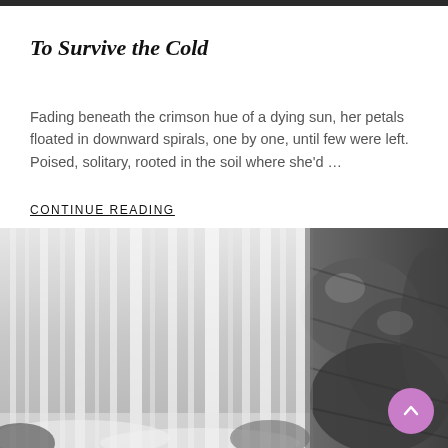To Survive the Cold
Fading beneath the crimson hue of a dying sun, her petals floated in downward spirals, one by one, until few were left. Poised, solitary, rooted in the soil where she'd …
CONTINUE READING
[Figure (photo): A close-up photograph of a waterfall cascading over dark rocky cliffs, shown in muted grey tones. The water streams vertically in soft blurred motion against dark stone on the right side.]